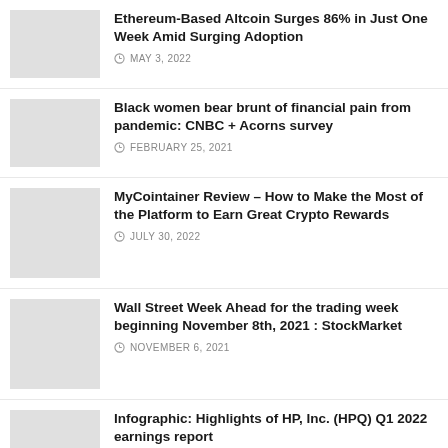Ethereum-Based Altcoin Surges 86% in Just One Week Amid Surging Adoption — MAY 3, 2022
Black women bear brunt of financial pain from pandemic: CNBC + Acorns survey — FEBRUARY 25, 2021
MyCointainer Review – How to Make the Most of the Platform to Earn Great Crypto Rewards — JULY 30, 2022
Wall Street Week Ahead for the trading week beginning November 8th, 2021 : StockMarket — NOVEMBER 6, 2021
Infographic: Highlights of HP, Inc. (HPQ) Q1 2022 earnings report — MARCH 1, 2022